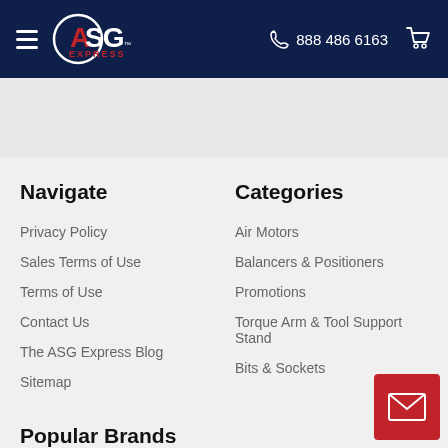ASG Express — 888 486 6163
Navigate
Privacy Policy
Sales Terms of Use
Terms of Use
Contact Us
The ASG Express Blog
Sitemap
Categories
Air Motors
Balancers & Positioners
Promotions
Torque Arm & Tool Support Stand
Bits & Sockets
Popular Brands